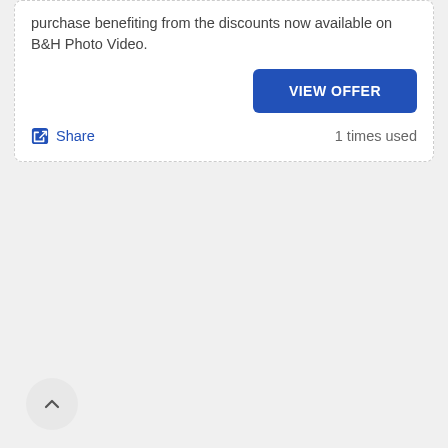Use our coupon codes for all your purchases. Make the purchase benefiting from the discounts now available on B&H Photo Video.
[Figure (screenshot): Blue 'VIEW OFFER' button]
Share   1 times used